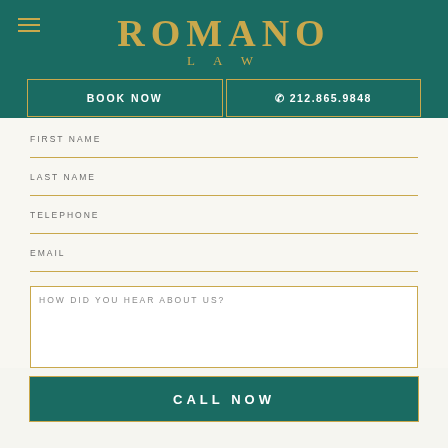ROMANO LAW
BOOK NOW
212.865.9848
FIRST NAME
LAST NAME
TELEPHONE
EMAIL
HOW DID YOU HEAR ABOUT US?
CALL NOW